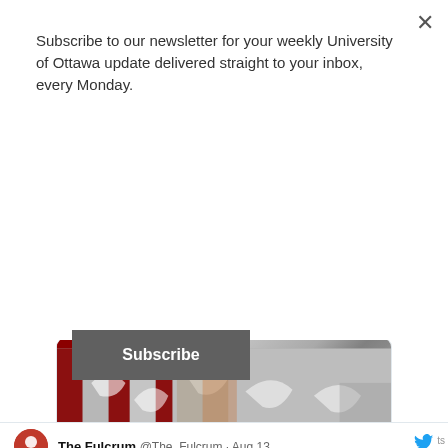Subscribe to our newsletter for your weekly University of Ottawa update delivered straight to your inbox, every Monday.
Subscribe
[Figure (photo): Photo of bird-safe window decals on red-framed glass windows at uOttawa campus]
thefulcrum.ca
Bird-Safe Campus at uOttawa partners with local artists to combat bird collisions with ...
8 likes
The Fulcrum @The_Fulcrum · Aug 13